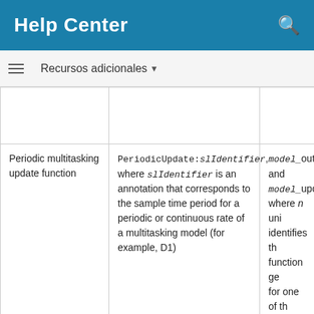Help Center
Recursos adicionales ▼
|  |  |  |
| Periodic multitasking update function | PeriodicUpdate:slIdentifier, where slIdentifier is an annotation that corresponds to the sample time period for a periodic or continuous rate of a multitasking model (for example, D1) | model_out and model_upd where n uni identifies th function ge for one of th sample peri |